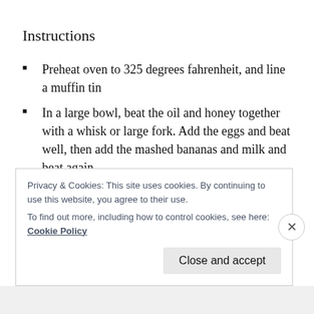Instructions
Preheat oven to 325 degrees fahrenheit, and line a muffin tin
In a large bowl, beat the oil and honey together with a whisk or large fork. Add the eggs and beat well, then add the mashed bananas and milk and beat again.
Add the baking soda, vanilla, salt and cinnamon and whisk together. Switch to a large spoon and stir in the
Privacy & Cookies: This site uses cookies. By continuing to use this website, you agree to their use.
To find out more, including how to control cookies, see here: Cookie Policy
Close and accept